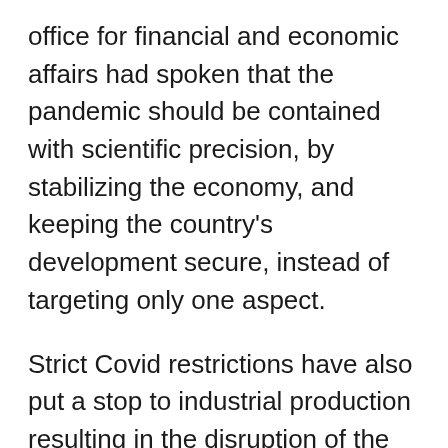office for financial and economic affairs had spoken that the pandemic should be contained with scientific precision, by stabilizing the economy, and keeping the country's development secure, instead of targeting only one aspect.
Strict Covid restrictions have also put a stop to industrial production resulting in the disruption of the supply chains for the first time. The manufacturing activity witnessed a steady decline, reaching its lowest since February 2020.
Further, as the period of lockdowns in Shanghai drags on, analysts from various